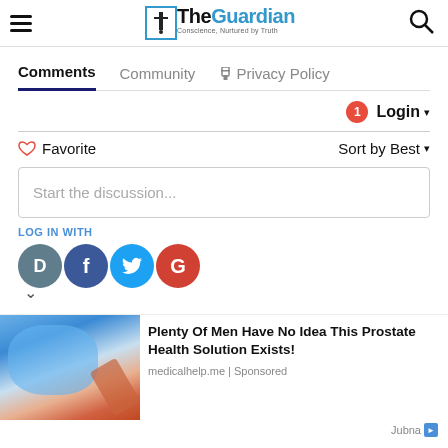The Guardian — Conscience, Nurtured by Truth
Comments | Community | Privacy Policy
1 Login ▾
♡ Favorite  Sort by Best ▾
Start the discussion...
LOG IN WITH
[Figure (other): Social login icons: D (Disqus), F (Facebook), Twitter bird, G (Google)]
[Figure (photo): Medical image of a prostate/kidney with gloved hand and needle — advertisement]
Plenty Of Men Have No Idea This Prostate Health Solution Exists!
medicalhelp.me | Sponsored
Jubna